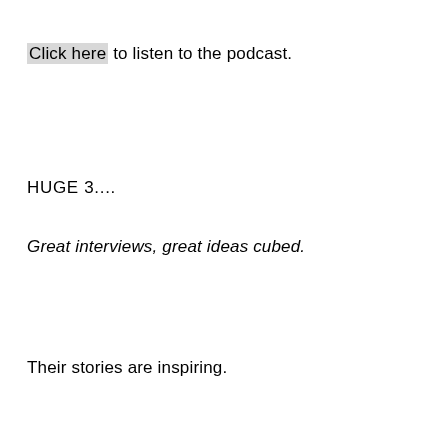Click here to listen to the podcast.
HUGE 3....
Great interviews, great ideas cubed.
Their stories are inspiring.